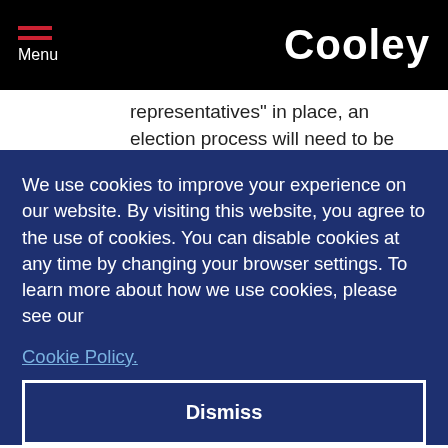Menu | Cooley
representatives" in place, an election process will need to be carried out to appoint them (although employers with fewer than 10 employees can directly inform and consult with their affected employees rather than carry out the election process).
We use cookies to improve your experience on our website. By visiting this website, you agree to the use of cookies. You can disable cookies at any time by changing your browser settings. To learn more about how we use cookies, please see our Cookie Policy.
(b) The current employer will need to inform and consult with both the transferring employees and any other of
may change). The new employer would need to inform and consult with its own